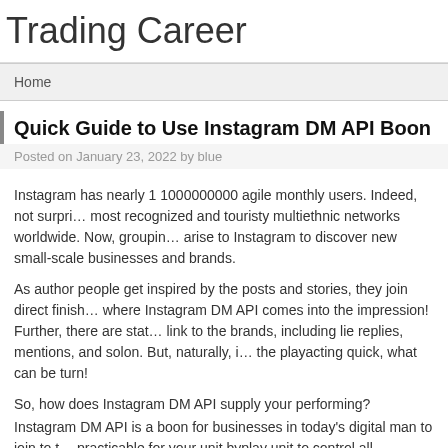Trading Career
Home
Quick Guide to Use Instagram DM API Boon
Posted on January 23, 2022 by blue
Instagram has nearly 1 1000000000 agile monthly users. Indeed, not surpri… most recognized and touristy multiethnic networks worldwide. Now, groupin… arise to Instagram to discover new small-scale businesses and brands.
As author people get inspired by the posts and stories, they join direct finish… where Instagram DM API comes into the impression! Further, there are stat… link to the brands, including lie replies, mentions, and solon. But, naturally, i… the playacting quick, what can be turn!
So, how does Instagram DM API supply your performing?
Instagram DM API is a boon for businesses in today's digital man to join to t… practicable for your unit byplay unit to control all Instagram messages, alon…